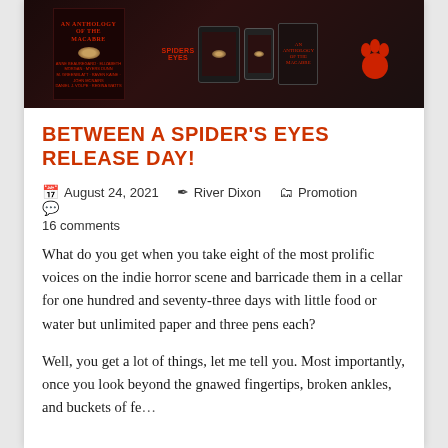[Figure (illustration): Dark horror anthology book banner showing book covers with red title text 'An Anthology of the Macabre', eye imagery, author names in red, device mockups (phone and tablet), and a red footprint symbol on a dark background]
BETWEEN A SPIDER'S EYES RELEASE DAY!
August 24, 2021  River Dixon  Promotion  16 comments
What do you get when you take eight of the most prolific voices on the indie horror scene and barricade them in a cellar for one hundred and seventy-three days with little food or water but unlimited paper and three pens each?
Well, you get a lot of things, let me tell you. Most importantly, once you look beyond the gnawed fingertips, broken ankles, and buckets of fears...